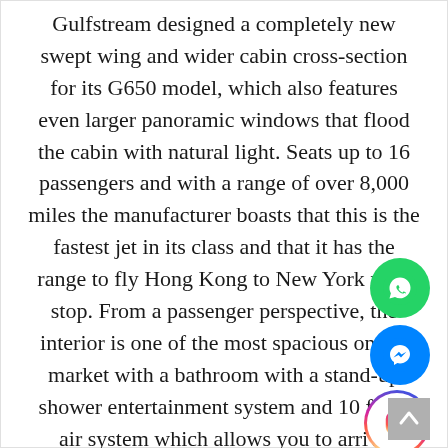Gulfstream designed a completely new swept wing and wider cabin cross-section for its G650 model, which also features even larger panoramic windows that flood the cabin with natural light. Seats up to 16 passengers and with a range of over 8,000 miles the manufacturer boasts that this is the fastest jet in its class and that it has the range to fly Hong Kong to New York non-stop. From a passenger perspective, the interior is one of the most spacious on the market with a bathroom with a stand-up shower entertainment system and 100% fresh air system which allows you to arrive feeling more refreshed.